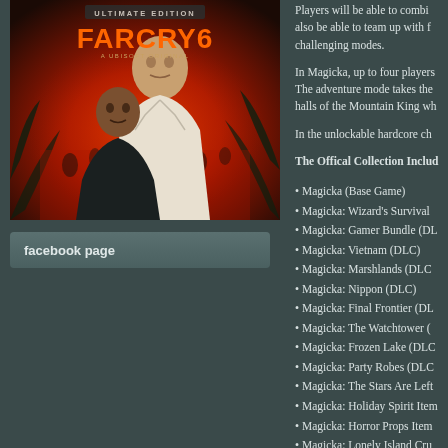[Figure (photo): Far Cry 6 Ultimate Edition game cover art showing two characters - an older man in white suit and a younger person - against a red/orange fiery background with tropical foliage. 'ULTIMATE EDITION' text at top and 'FARCRY6' logo in orange. 'A UBISOFT ORIGINAL' tagline.]
facebook page
Players will be able to combi also be able to team up with f challenging modes.
In Magicka, up to four players The adventure mode takes the halls of the Mountain King wh
In the unlockable hardcore ch
The Offical Collection Includ
• Magicka (Base Game)
• Magicka: Wizard's Survival
• Magicka: Gamer Bundle (DL
• Magicka: Vietnam (DLC)
• Magicka: Marshlands (DLC
• Magicka: Nippon (DLC)
• Magicka: Final Frontier (DL
• Magicka: The Watchtower (
• Magicka: Frozen Lake (DLC
• Magicka: Party Robes (DLC
• Magicka: The Stars Are Left
• Magicka: Holiday Spirit Item
• Magicka: Horror Props Item
• Magicka: Lonely Island Cru
• Magicka: The Other Side of